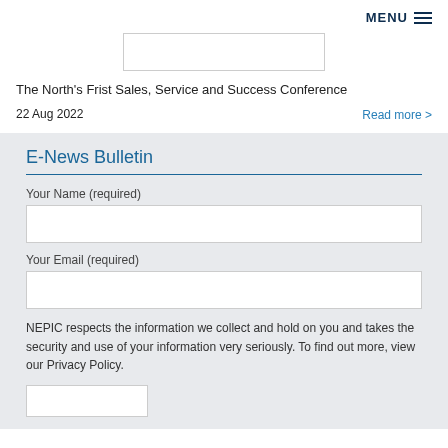MENU
[Figure (other): Logo/image placeholder box]
The North's Frist Sales, Service and Success Conference
22 Aug 2022
Read more >
E-News Bulletin
Your Name (required)
Your Email (required)
NEPIC respects the information we collect and hold on you and takes the security and use of your information very seriously. To find out more, view our Privacy Policy.